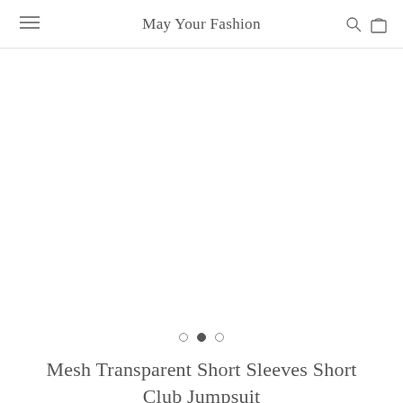May Your Fashion
[Figure (other): White blank product image area with carousel navigation dots below]
Mesh Transparent Short Sleeves Short Club Jumpsuit